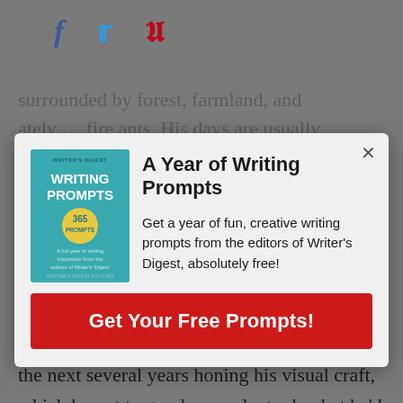[Figure (other): Social sharing icons: Facebook (f), Twitter bird, Pinterest (P) in a horizontal row]
surrounded by forest, farmland, and … fire ants. His days are usually spent clicking away on his keyboard when he's … from lawn.
[Figure (other): Modal popup dialog with book cover for 'A Year of Writing Prompts', title, description, and CTA button]
A Year of Writing Prompts
Get a year of fun, creative writing prompts from the editors of Writer's Digest, absolutely free!
Get Your Free Prompts!
Accounting, but instead of pursuing this field, he returned to school to study film. He spent the next several years honing his visual craft, which he put to good use as he took what he'd learned